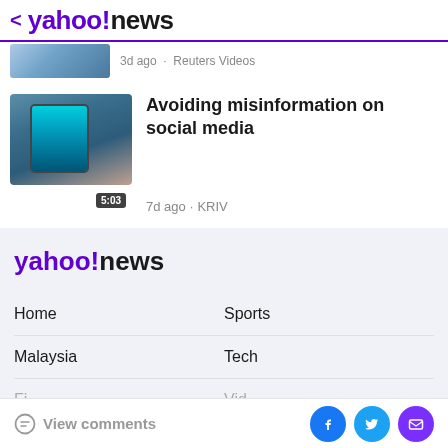< yahoo!news
[Figure (screenshot): Partial thumbnail of a previous article with text '3d ago · Reuters Videos']
[Figure (photo): Video thumbnail of a person holding a smartphone with a 5:03 duration badge]
Avoiding misinformation on social media
7d ago · KRIV
[Figure (logo): yahoo!news logo in footer section]
Home
Sports
Malaysia
Tech
Fi...
Vid...
View comments